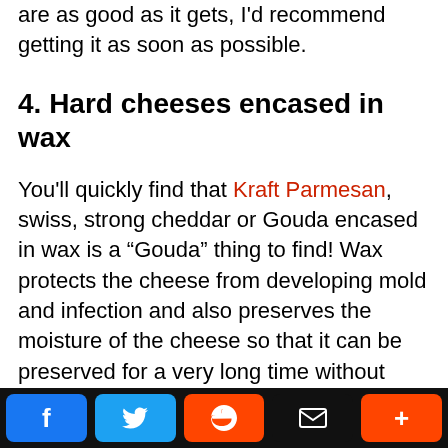are as good as it gets, I'd recommend getting it as soon as possible.
4. Hard cheeses encased in wax
You'll quickly find that Kraft Parmesan, swiss, strong cheddar or Gouda encased in wax is a “Gouda” thing to find! Wax protects the cheese from developing mold and infection and also preserves the moisture of the cheese so that it can be preserved for a very long time without refrigeration.
Social share bar: Facebook, Twitter, Reddit, Email, More